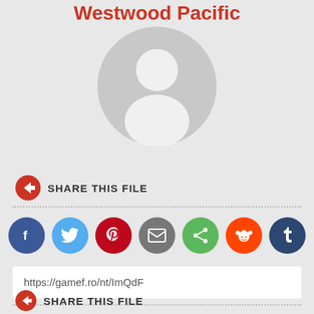Westwood Pacific
[Figure (illustration): Default user avatar placeholder: circular grey background with white silhouette of a person (head and shoulders)]
SHARE THIS FILE
[Figure (infographic): Row of social share buttons: Facebook (blue), Twitter (light blue), Pinterest (dark red), Email (grey), Share/generic (green), Reddit (orange-red), Tumblr (dark navy)]
https://gamef.ro/nt/ImQdF
SHARE THIS FILE